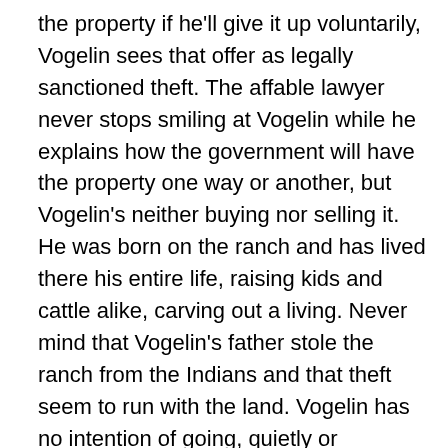the property if he'll give it up voluntarily, Vogelin sees that offer as legally sanctioned theft. The affable lawyer never stops smiling at Vogelin while he explains how the government will have the property one way or another, but Vogelin's neither buying nor selling it. He was born on the ranch and has lived there his entire life, raising kids and cattle alike, carving out a living. Never mind that Vogelin's father stole the ranch from the Indians and that theft seem to run with the land. Vogelin has no intention of going, quietly or otherwise, and takes up arms after the U.S. Air Force tacks up condemnation notices. Vogelin's neighbors sell out one by one, yet even Vogelin's best friend, Lee, can't persuade him to do the same. To fight the government is to pick a fight with a bully, and it's a fight you can't win, Lee counsels him. Vogelin remains steadfast, the one voice raised in protest against what he